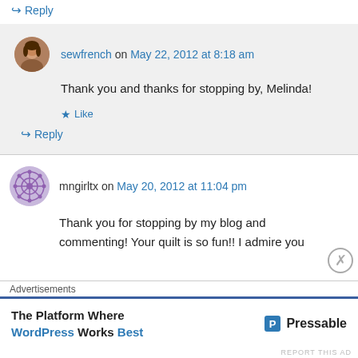↪ Reply
sewfrench on May 22, 2012 at 8:18 am
Thank you and thanks for stopping by, Melinda!
★ Like
↪ Reply
mngirltx on May 20, 2012 at 11:04 pm
Thank you for stopping by my blog and commenting! Your quilt is so fun!! I admire you
Advertisements
The Platform Where WordPress Works Best